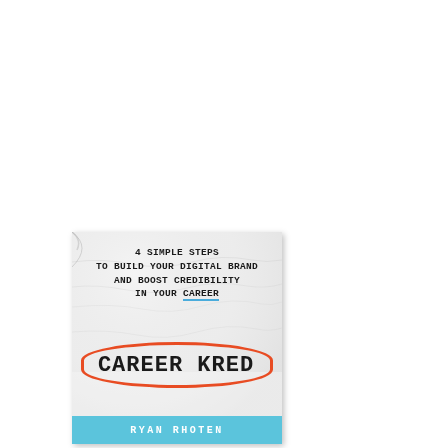[Figure (illustration): Book cover for 'Career Kred' by Ryan Rhoten. The cover shows a crinkled white/light gray paper background. At the top, subtitle text reads '4 SIMPLE STEPS TO BUILD YOUR DIGITAL BRAND AND BOOST CREDIBILITY IN YOUR CAREER' in a handwritten/monospace bold font, with 'CAREER' underlined in blue. In the center, the title 'CAREER KRED' is displayed in large bold text enclosed in an orange/red hand-drawn oval. At the bottom, a light blue banner contains the author name 'RYAN RHOTEN' in white spaced letters.]